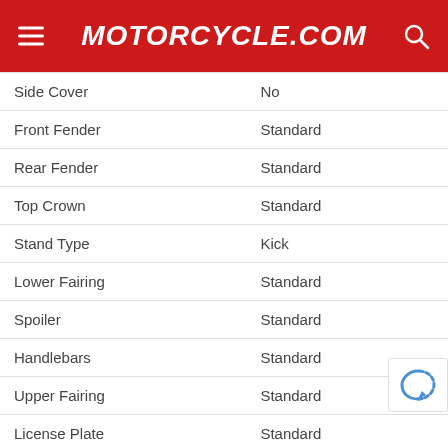Motorcycle.com
| Feature | Value |
| --- | --- |
| Side Cover | No |
| Front Fender | Standard |
| Rear Fender | Standard |
| Top Crown | Standard |
| Stand Type | Kick |
| Lower Fairing | Standard |
| Spoiler | Standard |
| Handlebars | Standard |
| Upper Fairing | Standard |
| License Plate | Standard |
INSTRUMENTATION:
| Feature | Value |
| --- | --- |
| Digital Instrumentation | Standard |
[Figure (other): Advertisement banner with decorative circular pattern in light gray]